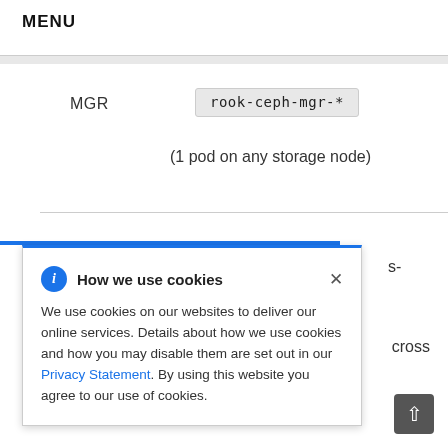MENU
MGR
rook-ceph-mgr-*
(1 pod on any storage node)
s-
cross
[Figure (screenshot): Cookie consent popup with blue info icon, title 'How we use cookies', close X button, body text about cookie usage with a Privacy Statement link, and scroll-to-top button in bottom right corner.]